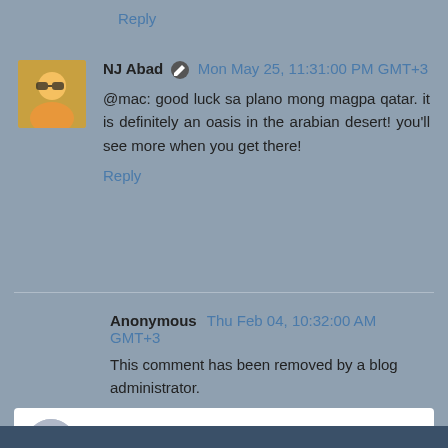Reply
NJ Abad  Mon May 25, 11:31:00 PM GMT+3
@mac: good luck sa plano mong magpa qatar. it is definitely an oasis in the arabian desert! you'll see more when you get there!
Reply
Anonymous  Thu Feb 04, 10:32:00 AM GMT+3
This comment has been removed by a blog administrator.
Reply
Enter Comment